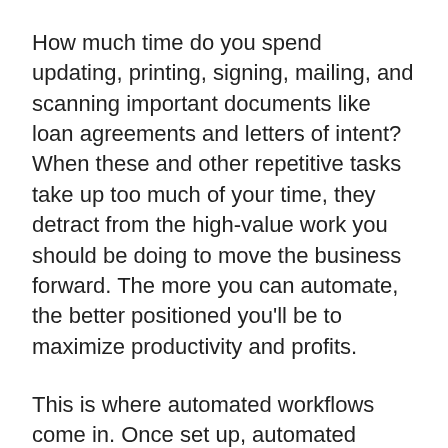How much time do you spend updating, printing, signing, mailing, and scanning important documents like loan agreements and letters of intent? When these and other repetitive tasks take up too much of your time, they detract from the high-value work you should be doing to move the business forward. The more you can automate, the better positioned you'll be to maximize productivity and profits.
This is where automated workflows come in. Once set up, automated workflows will take care of entire real estate processes from start to finish. From creating digital documents to routing files to the right individuals, each task will be handled without the need for additional input from you. As soon as one item is completed, your automated